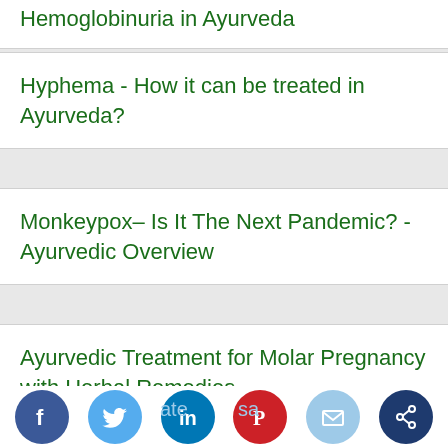Hemoglobinuria in Ayurveda
Hyphema - How it can be treated in Ayurveda?
Monkeypox– Is It The Next Pandemic? - Ayurvedic Overview
Ayurvedic Treatment for Molar Pregnancy with Herbal Remedies
What is Whiplash Injury? How can it be treated in Ayurvedic medicine?